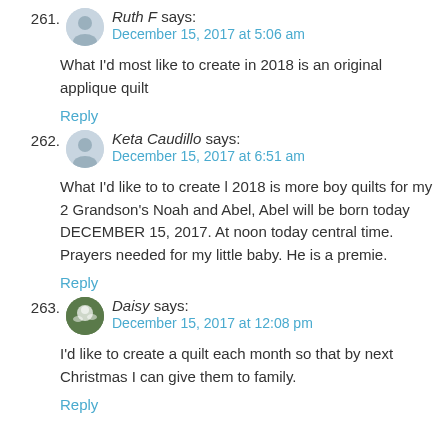261. Ruth F says: December 15, 2017 at 5:06 am — What I'd most like to create in 2018 is an original applique quilt — Reply
262. Keta Caudillo says: December 15, 2017 at 6:51 am — What I'd like to to create l 2018 is more boy quilts for my 2 Grandson's Noah and Abel, Abel will be born today DECEMBER 15, 2017. At noon today central time. Prayers needed for my little baby. He is a premie. — Reply
263. Daisy says: December 15, 2017 at 12:08 pm — I'd like to create a quilt each month so that by next Christmas I can give them to family. — Reply